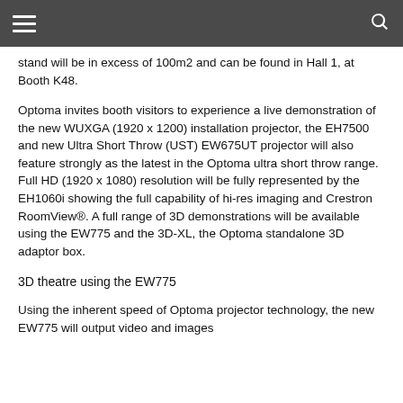≡  🔍
stand will be in excess of 100m2 and can be found in Hall 1, at Booth K48.
Optoma invites booth visitors to experience a live demonstration of the new WUXGA (1920 x 1200) installation projector, the EH7500 and new Ultra Short Throw (UST) EW675UT projector will also feature strongly as the latest in the Optoma ultra short throw range. Full HD (1920 x 1080) resolution will be fully represented by the EH1060i showing the full capability of hi-res imaging and Crestron RoomView®. A full range of 3D demonstrations will be available using the EW775 and the 3D-XL, the Optoma standalone 3D adaptor box.
3D theatre using the EW775
Using the inherent speed of Optoma projector technology, the new EW775 will output video and images